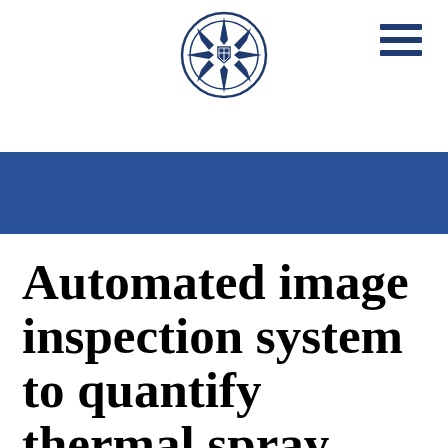[Figure (logo): University crest/seal logo in blue, circular emblem with decorative star/cross pattern]
Automated image inspection system to quantify thermal spray splat morphology